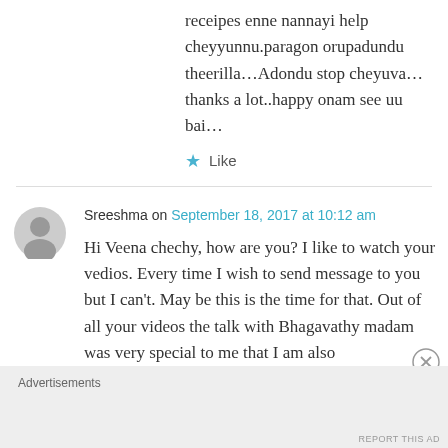receipes enne nannayi help cheyyunnu.paragon orupadundu theerilla…Adondu stop cheyuva… thanks a lot..happy onam see uu bai…
★ Like
Sreeshma on September 18, 2017 at 10:12 am
Hi Veena chechy, how are you? I like to watch your vedios. Every time I wish to send message to you but I can't. May be this is the time for that. Out of all your videos the talk with Bhagavathy madam was very special to me that I am also
Advertisements